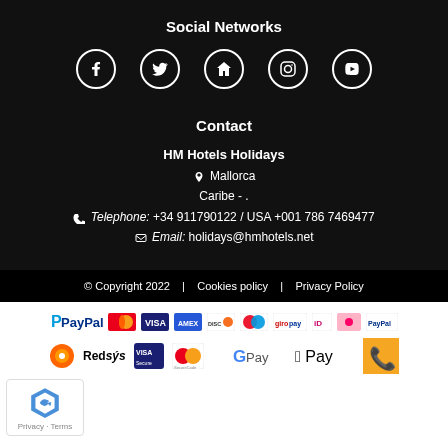Social Networks
[Figure (illustration): Five social network icons: Facebook, Twitter, Home/Tripadvisor, Instagram, YouTube — white outlined circles on dark background]
Contact
HM Hotels Holidays
📍 Mallorca
Caribe - .
📞 Telephone: +34 911790122 / USA +001 786 7469477
✉ Email: holidays@hmhotels.net
© Copyright 2022   |   Cookies policy   |   Privacy Policy
[Figure (logo): PayPal logo followed by payment method logos: Mastercard, Visa, American Express, Discover, Maestro, GiroPay, iDeal, Klarna, PayPal]
[Figure (logo): Redsys logo with Visa Secure and Mastercard SecureCode badges, Google Pay, Apple Pay logos, and a phone/hotel icon on yellow background]
[Figure (illustration): reCAPTCHA badge with Privacy - Terms text]